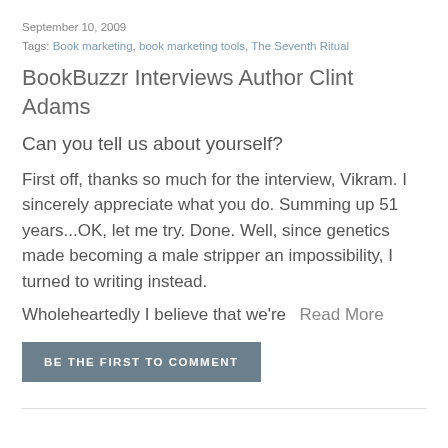September 10, 2009
Tags: Book marketing, book marketing tools, The Seventh Ritual
BookBuzzr Interviews Author Clint Adams
Can you tell us about yourself?
First off, thanks so much for the interview, Vikram. I sincerely appreciate what you do. Summing up 51 years...OK, let me try. Done. Well, since genetics made becoming a male stripper an impossibility, I turned to writing instead.
Wholeheartedly I believe that we're  Read More
BE THE FIRST TO COMMENT